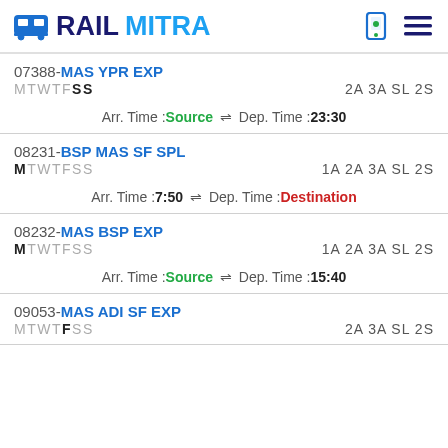RAILMITRA
07388-MAS YPR EXP
MTWTFSS	2A 3A SL 2S
Arr. Time :Source ⇌ Dep. Time :23:30
08231-BSP MAS SF SPL
MTWTFSS	1A 2A 3A SL 2S
Arr. Time :7:50 ⇌ Dep. Time :Destination
08232-MAS BSP EXP
MTWTFSS	1A 2A 3A SL 2S
Arr. Time :Source ⇌ Dep. Time :15:40
09053-MAS ADI SF EXP
MTWTFSS	2A 3A SL 2S